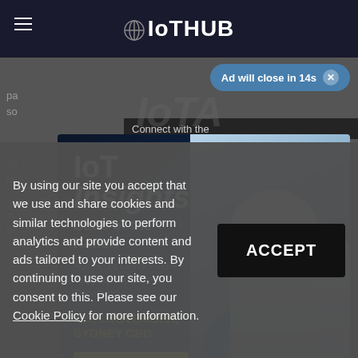IoTHUB
[Figure (screenshot): Ad close timer banner: 'Ad will close in 14s' with close X button on blue pill-shaped background]
[Figure (infographic): IoT Insights - State of the Nation advertisement. Australia's Digital Future, Mapping the IoT Opportunity. 16TH NOVEMBER, SYDNEY CBD. Get tickets now! Shows two engineers in hard hats looking at industrial equipment with glowing turbine.]
By using our site you accept that we use and share cookies and similar technologies to perform analytics and provide content and ads tailored to your interests. By continuing to use our site, you consent to this. Please see our Cookie Policy for more information.
ACCEPT